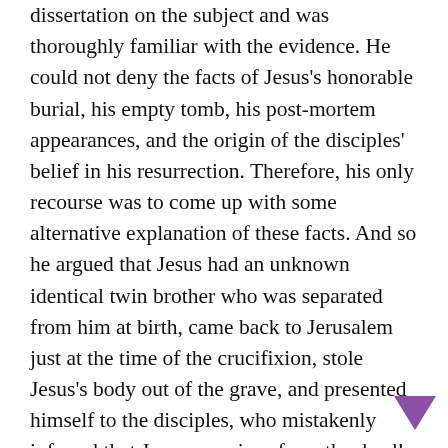dissertation on the subject and was thoroughly familiar with the evidence. He could not deny the facts of Jesus's honorable burial, his empty tomb, his post-mortem appearances, and the origin of the disciples' belief in his resurrection. Therefore, his only recourse was to come up with some alternative explanation of these facts. And so he argued that Jesus had an unknown identical twin brother who was separated from him at birth, came back to Jerusalem just at the time of the crucifixion, stole Jesus's body out of the grave, and presented himself to the disciples, who mistakenly inferred that Jesus was risen from the dead! Now I won't go into how I went about refuting his theory, but I think that this theory is instructive because it shows to what desperate lengths skepticism must go in order to deny the historicity of the resurrection of Jesus.